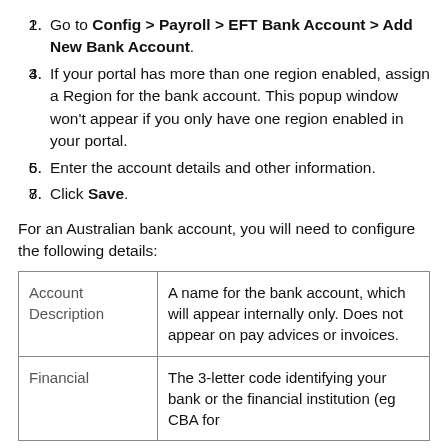Go to Config > Payroll > EFT Bank Account > Add New Bank Account.
If your portal has more than one region enabled, assign a Region for the bank account. This popup window won't appear if you only have one region enabled in your portal.
Enter the account details and other information.
Click Save.
For an Australian bank account, you will need to configure the following details:
|  |  |
| --- | --- |
| Account Description | A name for the bank account, which will appear internally only. Does not appear on pay advices or invoices. |
| Financial | The 3-letter code identifying your bank or the financial institution (eg CBA for |